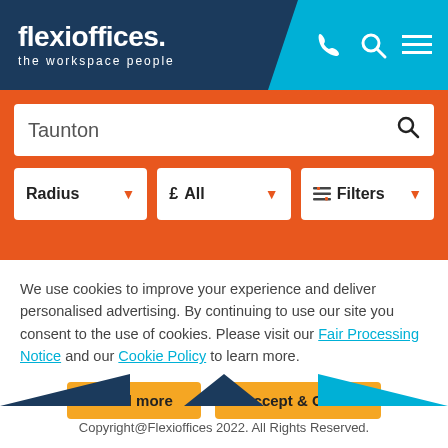[Figure (logo): Flexioffices logo with tagline 'the workspace people' on dark navy header with cyan right section and phone/search/menu icons]
[Figure (screenshot): Orange search bar area with 'Taunton' text input and Radius / £ All / Filters dropdown row]
We use cookies to improve your experience and deliver personalised advertising. By continuing to use our site you consent to the use of cookies. Please visit our Fair Processing Notice and our Cookie Policy to learn more.
Read more | Accept & Close
Copyright@Flexioffices 2022. All Rights Reserved.